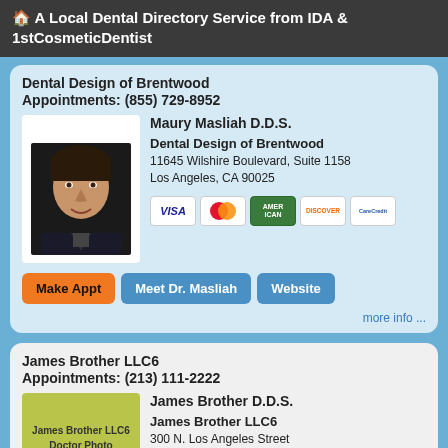🏠 A Local Dental Directory Service from IDA & 1stCosmeticDentist
Dental Design of Brentwood
Appointments: (855) 729-8952
[Figure (photo): Headshot photo of Dr. Maury Masliah]
Maury Masliah D.D.S.
Dental Design of Brentwood
11645 Wilshire Boulevard, Suite 1158
Los Angeles, CA 90025
[Figure (infographic): Payment method icons: Visa, MasterCard, American Express, Discover, CareCredit]
Make Appt   Meet Dr. Masliah   Website
more info ...
James Brother LLC6
Appointments: (213) 111-2222
[Figure (photo): Placeholder photo for James Brother LLC6 Doctor Photo]
James Brother D.D.S.
James Brother LLC6
300 N. Los Angeles Street